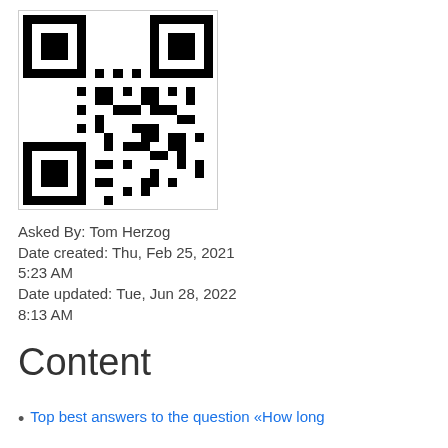[Figure (other): QR code image, black and white matrix barcode]
Asked By: Tom Herzog
Date created: Thu, Feb 25, 2021 5:23 AM
Date updated: Tue, Jun 28, 2022 8:13 AM
Content
Top best answers to the question «How long